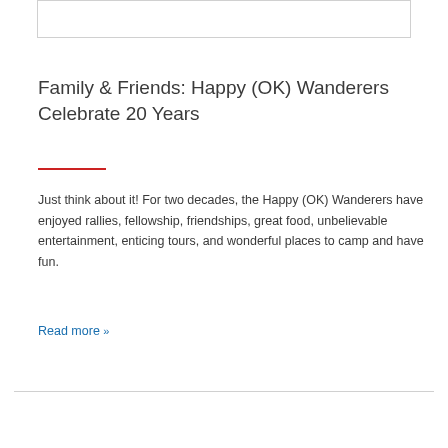Family & Friends: Happy (OK) Wanderers Celebrate 20 Years
Just think about it! For two decades, the Happy (OK) Wanderers have enjoyed rallies, fellowship, friendships, great food, unbelievable entertainment, enticing tours, and wonderful places to camp and have fun.
Read more »